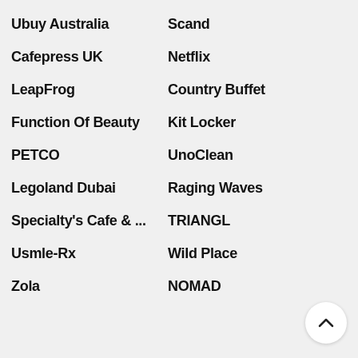Ubuy Australia
Scand
Cafepress UK
Netflix
LeapFrog
Country Buffet
Function Of Beauty
Kit Locker
PETCO
UnoClean
Legoland Dubai
Raging Waves
Specialty's Cafe & ...
TRIANGL
Usmle-Rx
Wild Place
Zola
NOMAD